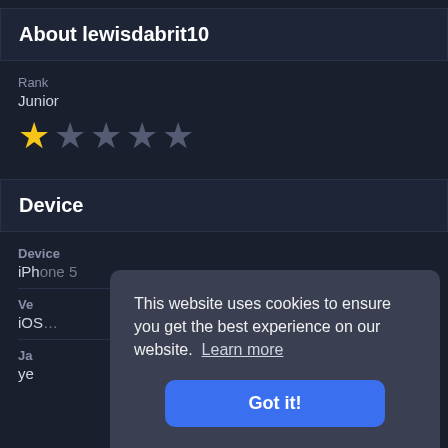About lewisdabrit10
Rank
Junior
[Figure (infographic): Star rating display: 1 gold star followed by 4 gray stars]
Device
Device
iPhone 5
Ve...
iOS...
Ja...
ye...
This website uses cookies to ensure you get the best experience on our website. Learn more
Got it!